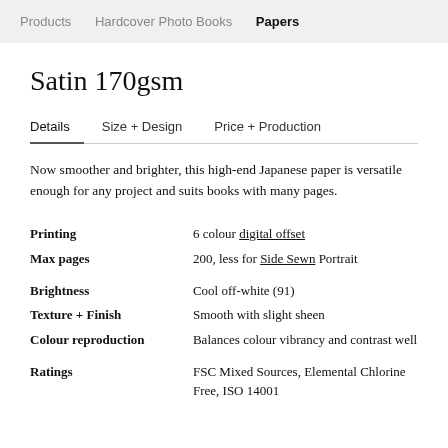Products  Hardcover Photo Books  Papers
Satin 170gsm
Details   Size + Design   Price + Production
Now smoother and brighter, this high-end Japanese paper is versatile enough for any project and suits books with many pages.
| Property | Value |
| --- | --- |
| Printing | 6 colour digital offset |
| Max pages | 200, less for Side Sewn Portrait |
| Brightness | Cool off-white (91) |
| Texture + Finish | Smooth with slight sheen |
| Colour reproduction | Balances colour vibrancy and contrast well |
| Ratings | FSC Mixed Sources, Elemental Chlorine Free, ISO 14001 |